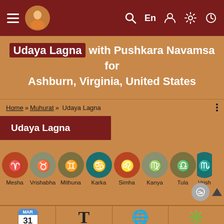Navigation bar with hamburger menu, logo, search, En, user, settings, clock icons
Udaya Lagna with Pushkara Navamsa for Ashburn, Virginia, United States
Home » Muhurat » Udaya Lagna
Udaya Lagna
[Figure (illustration): Horizontal scrollable row of zodiac sign icons: Mesha (Aries), Vrishabha (Taurus), Mithuna (Gemini), Karka (Cancer), Simha (Leo), Kanya (Virgo), Tula (Libra), Vrischika (Scorpio - partially visible)]
[Figure (infographic): Bottom toolbar with four tool options: Change Date (calendar icon MAR 31), Goto Today (T icon), Lahiri/Chitra Paksha (globe icon), Modern Theme (pinwheel icon)]